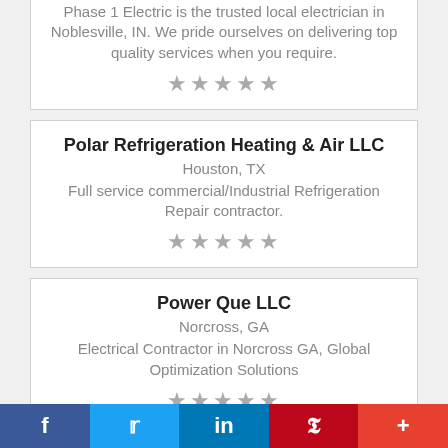Phase 1 Electric is the trusted local electrician in Noblesville, IN. We pride ourselves on delivering top quality services when you require.
★★★★★
Polar Refrigeration Heating & Air LLC
Houston, TX
Full service commercial/Industrial Refrigeration Repair contractor.
★★★★★
Power Que LLC
Norcross, GA
Electrical Contractor in Norcross GA, Global Optimization Solutions
★★★★★
f  🐦  in  P  +